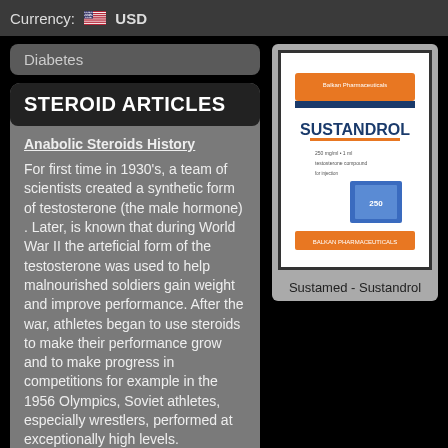Currency: USD
Diabetes
STEROID ARTICLES
Anabolic Steroids History
For first time in 1930's, a team of scientists created a synthetic form of testosterone (the male hormone) . Later, is known that during World War II the arteficial form of the testosterone was used to help malnourished soldiers gain weight and improve performance. After the war, athletes began to use steroids to make their performance grow and to make progress in competitions for example in the 1956 Olympics, Soviet athletes, especially wrestlers, performed at exceptionally high levels.
[Figure (photo): Product image of Sustamed - Sustandrol supplement box]
Sustamed - Sustandrol